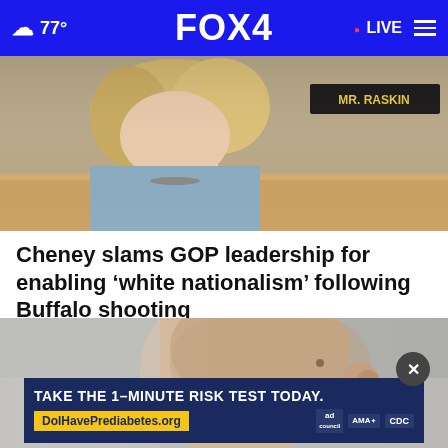77° FOX4 LIVE
[Figure (photo): Woman with blonde wavy hair at congressional hearing, nameplate reading 'MR. RASKIN' visible in background]
Cheney slams GOP leadership for enabling ‘white nationalism’ following Buffalo shooting
[Figure (photo): Close-up side profile of a young man with shaved head]
[Figure (infographic): Advertisement banner: TAKE THE 1-MINUTE RISK TEST TODAY. DoIHavePrediabetes.org with ad, AMA, and CDC logos]